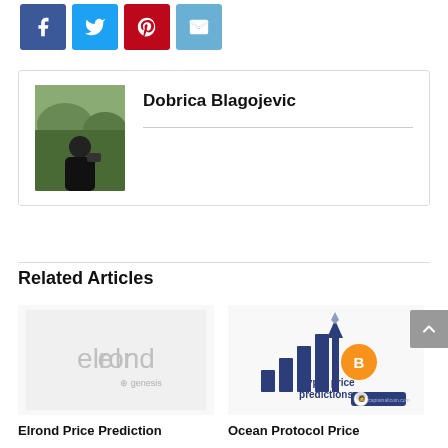[Figure (other): Row of social media share buttons: Facebook (blue), Twitter (cyan), Pinterest (red), Email (light blue)]
Dobrica Blagojevic
Related Articles
[Figure (illustration): Elrond logo thumbnail for article link]
Elrond Price Prediction
[Figure (illustration): Crypto price predictions illustration with bar chart, Ethereum symbol, and Bitcoin coin logo]
Ocean Protocol Price